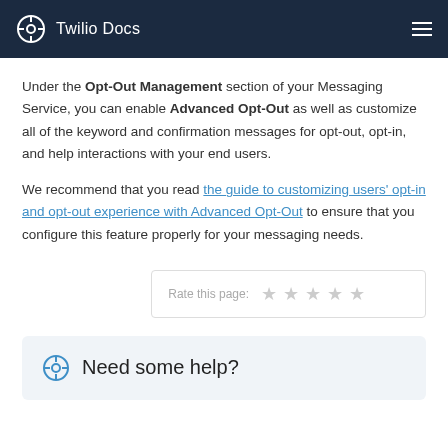Twilio Docs
Under the Opt-Out Management section of your Messaging Service, you can enable Advanced Opt-Out as well as customize all of the keyword and confirmation messages for opt-out, opt-in, and help interactions with your end users.
We recommend that you read the guide to customizing users’ opt-in and opt-out experience with Advanced Opt-Out to ensure that you configure this feature properly for your messaging needs.
Rate this page: ★ ★ ★ ★ ★
Need some help?